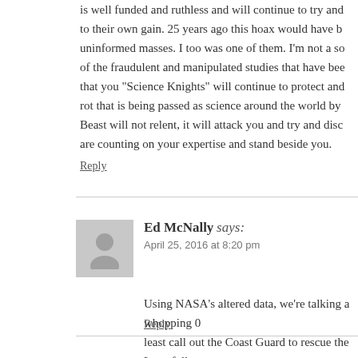is well funded and ruthless and will continue to try and to their own gain. 25 years ago this hoax would have been uninformed masses. I too was one of them. I'm not a so of the fraudulent and manipulated studies that have bee that you "Science Knights" will continue to protect and rot that is being passed as science around the world by Beast will not relent, it will attack you and try and disc are counting on your expertise and stand beside you.
Reply
Ed McNally says:
April 25, 2016 at 8:20 pm
Using NASA’s altered data, we’re talking a whopping 0 least call out the Coast Guard to rescue the Lego folks
Reply